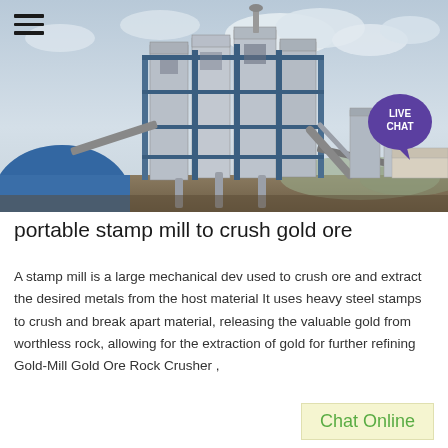[Figure (photo): Industrial stamp mill / ore crushing facility — large blue steel structure with silos, conveyors, and processing equipment under a cloudy sky. A blue dome structure is visible on the left.]
portable stamp mill to crush gold ore
A stamp mill is a large mechanical dev used to crush ore and extract the desired metals from the host material It uses heavy steel stamps to crush and break apart material, releasing the valuable gold from worthless rock, allowing for the extraction of gold for further refining Gold-Mill Gold Ore Rock Crusher ,
Chat Online